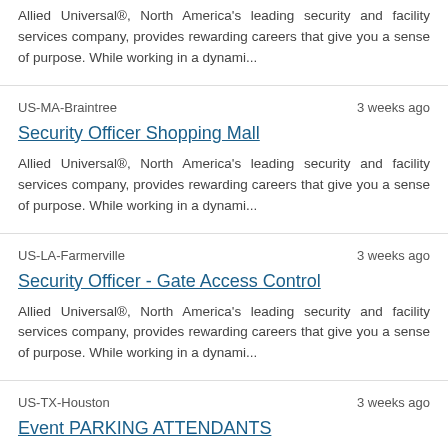Allied Universal®, North America's leading security and facility services company, provides rewarding careers that give you a sense of purpose. While working in a dynami...
US-MA-Braintree    3 weeks ago
Security Officer Shopping Mall
Allied Universal®, North America's leading security and facility services company, provides rewarding careers that give you a sense of purpose. While working in a dynami...
US-LA-Farmerville    3 weeks ago
Security Officer - Gate Access Control
Allied Universal®, North America's leading security and facility services company, provides rewarding careers that give you a sense of purpose. While working in a dynami...
US-TX-Houston    3 weeks ago
Event PARKING ATTENDANTS